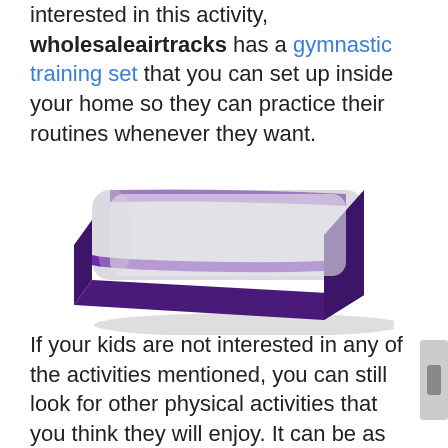interested in this activity, wholesaleairtracks has a gymnastic training set that you can set up inside your home so they can practice their routines whenever they want.
[Figure (photo): An inflatable gymnastic air track mat, rectangular shape with rounded corners, light gray/white top surface with a purple stripe running horizontally across the top and purple sides/bottom, shown in perspective 3D view.]
If your kids are not interested in any of the activities mentioned, you can still look for other physical activities that you think they will enjoy. It can be as simple as